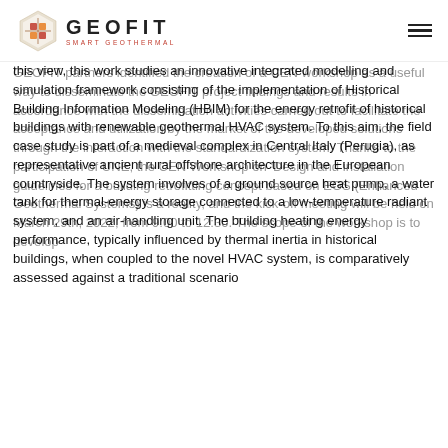GEOFIT SMART GEOTHERMAL
this view, this work studies an innovative integrated modelling and simulation framework consisting of the implementation of Historical Building Information Modeling (HBIM) for the energy retrofit of historical buildings with renewable geothermal HVAC system. To this aim, the field case study is part of a medieval complex in Central Italy (Perugia), as representative ancient rural offshore architecture in the European countryside. The system involves of a ground source heat pump, a water tank for thermal-energy storage connected to a low-temperature radiant system, and an air-handling unit. The building heating energy performance, typically influenced by thermal inertia in historical buildings, when coupled to the novel HVAC system, is comparatively assessed against a traditional scenario
GEOFIT partners identified the creation of a CEN workshop as a useful way to disseminate the GEOFIT project findings and results in accordance with the dissemination activities carried out to facilitate the acceptance and utilization by the market of the developed solutions through the interaction with the standardization system. Thanks to the participation of UNE, the CEN Workshop on 'Design and installation guidelines for a building retrofitting concept based on EGS (Enhanced Geothermal Systems) is a reality, and the kick-off meeting will be held on March 29th, 2022, from 9:00 to 12:30. The scope of the workshop is to develop